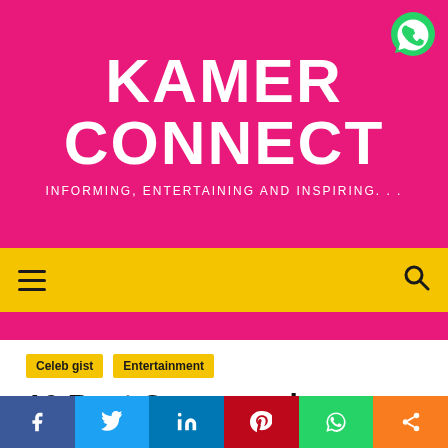KAMER CONNECT
INFORMING, ENTERTAINING AND INSPIRING. . .
[Figure (logo): WhatsApp icon (green chat bubble with phone) in top-right corner of pink header]
≡  🔍
Celeb gist   Entertainment
10 Best Cameroonian Musicians 2019 – Males